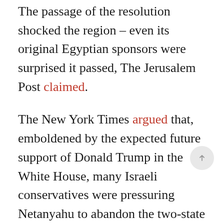The passage of the resolution shocked the region – even its original Egyptian sponsors were surprised it passed, The Jerusalem Post claimed.
The New York Times argued that, emboldened by the expected future support of Donald Trump in the White House, many Israeli conservatives were pressuring Netanyahu to abandon the two-state solution.
The prime minister...